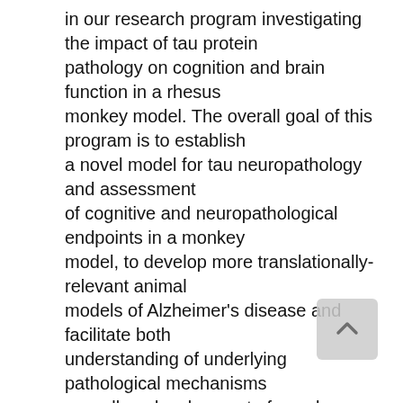in our research program investigating the impact of tau protein pathology on cognition and brain function in a rhesus monkey model. The overall goal of this program is to establish a novel model for tau neuropathology and assessment of cognitive and neuropathological endpoints in a monkey model, to develop more translationally-relevant animal models of Alzheimer's disease and facilitate both understanding of underlying pathological mechanisms as well as development of novel treatments. In addition to behavioral work, biological samples (blood, cerebrospinal fluid) will be collected and examined for biomarkers of inflammation and neurodegeneration, and concurrent neuroimaging studies will be carried out to ascertain whole-brain measures. The postdoctoral researcher will contribute to, and be involved in, all aspects of the research process including study design, protocol development, data collection, sample processing, data analysis